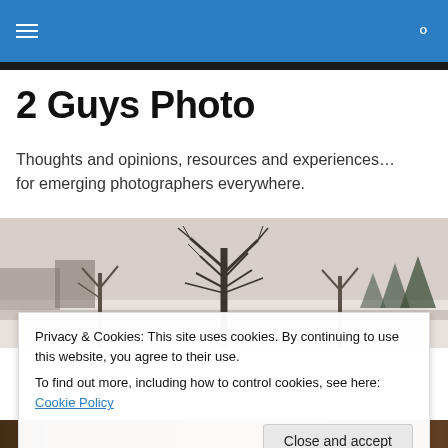Navigation bar with hamburger menu and search icon
2 Guys Photo
Thoughts and opinions, resources and experiences… for emerging photographers everywhere.
[Figure (photo): Black and white panoramic winter landscape with bare trees and snow-covered ground]
Privacy & Cookies: This site uses cookies. By continuing to use this website, you agree to their use.
To find out more, including how to control cookies, see here: Cookie Policy
Close and accept
[Figure (photo): Partial view of a warm-toned photograph at the bottom of the page]